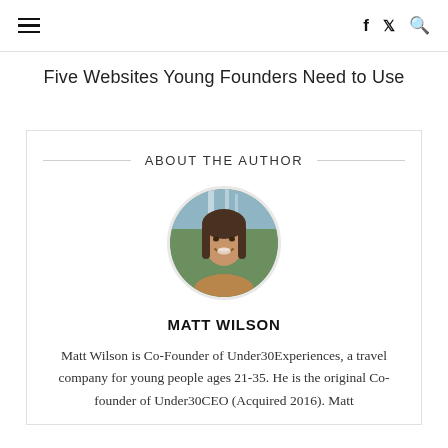≡  f  𝕏  🔍
Five Websites Young Founders Need to Use
ABOUT THE AUTHOR
[Figure (photo): Circular profile photo of Matt Wilson, a person with long hair smiling in front of a waterfall outdoor setting]
MATT WILSON
Matt Wilson is Co-Founder of Under30Experiences, a travel company for young people ages 21-35. He is the original Co-founder of Under30CEO (Acquired 2016). Matt